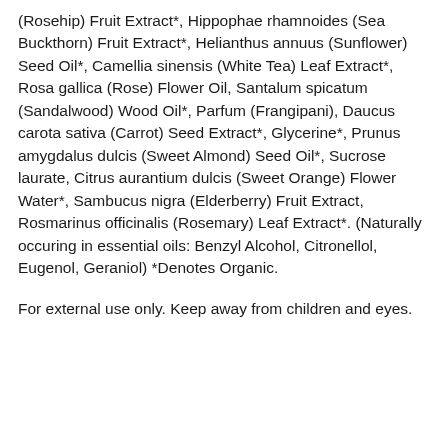(Rosehip) Fruit Extract*, Hippophae rhamnoides (Sea Buckthorn) Fruit Extract*, Helianthus annuus (Sunflower) Seed Oil*, Camellia sinensis (White Tea) Leaf Extract*, Rosa gallica (Rose) Flower Oil, Santalum spicatum (Sandalwood) Wood Oil*, Parfum (Frangipani), Daucus carota sativa (Carrot) Seed Extract*, Glycerine*, Prunus amygdalus dulcis (Sweet Almond) Seed Oil*, Sucrose laurate, Citrus aurantium dulcis (Sweet Orange) Flower Water*, Sambucus nigra (Elderberry) Fruit Extract, Rosmarinus officinalis (Rosemary) Leaf Extract*. (Naturally occuring in essential oils: Benzyl Alcohol, Citronellol, Eugenol, Geraniol) *Denotes Organic.
For external use only. Keep away from children and eyes.